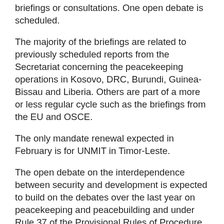briefings or consultations. One open debate is scheduled.
The majority of the briefings are related to previously scheduled reports from the Secretariat concerning the peacekeeping operations in Kosovo, DRC, Burundi, Guinea-Bissau and Liberia. Others are part of a more or less regular cycle such as the briefings from the EU and OSCE.
The only mandate renewal expected in February is for UNMIT in Timor-Leste.
The open debate on the interdependence between security and development is expected to build on the debates over the last year on peacekeeping and peacebuilding and under Rule 37 of the Provisional Rules of Procedure of the Security Council, states that are not members of the Security Council wishing to participate must formally write to the president of the